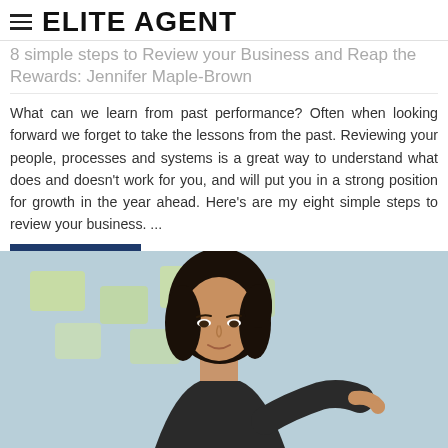ELITE AGENT
8 simple steps to Review your Business and Reap the Rewards: Jennifer Maple-Brown
What can we learn from past performance? Often when looking forward we forget to take the lessons from the past. Reviewing your people, processes and systems is a great way to understand what does and doesn’t work for you, and will put you in a strong position for growth in the year ahead. Here’s are my eight simple steps to review your business. ...
Read More »
[Figure (photo): A young woman with dark hair smiling slightly, looking downward, wearing a dark top, with a blurred background of yellow sticky notes on a wall.]